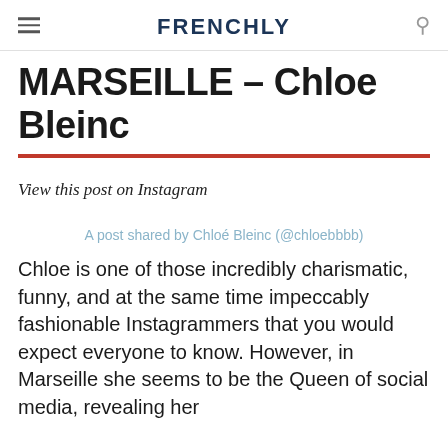FRENCHLY
MARSEILLE – Chloe Bleinc
View this post on Instagram
A post shared by Chloé Bleinc (@chloebbbb)
Chloe is one of those incredibly charismatic, funny, and at the same time impeccably fashionable Instagrammers that you would expect everyone to know. However, in Marseille she seems to be the Queen of social media, revealing her